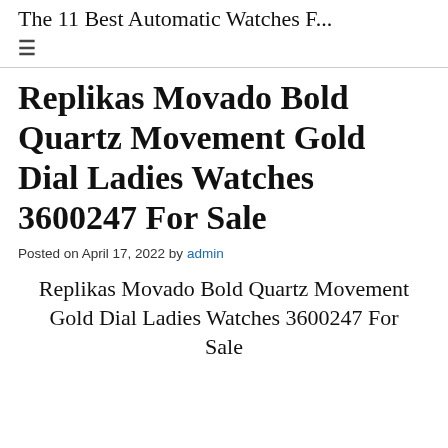The 11 Best Automatic Watches F...
≡
Replikas Movado Bold Quartz Movement Gold Dial Ladies Watches 3600247 For Sale
Posted on April 17, 2022 by admin
Replikas Movado Bold Quartz Movement Gold Dial Ladies Watches 3600247 For Sale